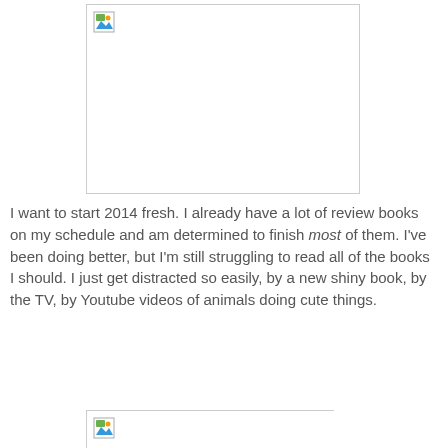[Figure (photo): Broken image placeholder (large, top of page)]
I want to start 2014 fresh. I already have a lot of review books on my schedule and am determined to finish most of them. I've been doing better, but I'm still struggling to read all of the books I should. I just get distracted so easily, by a new shiny book, by the TV, by Youtube videos of animals doing cute things.
[Figure (photo): Broken image placeholder (partial, bottom of page)]